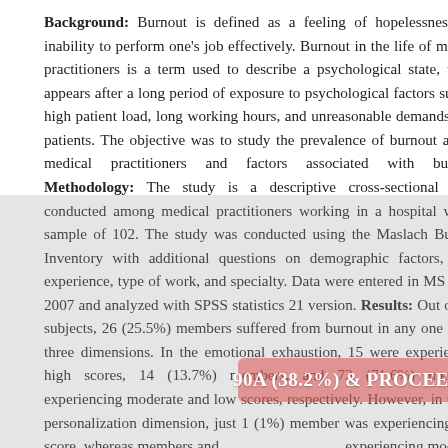Background: Burnout is defined as a feeling of hopelessness and inability to perform one's job effectively. Burnout in the life of medical practitioners is a term used to describe a psychological state, which appears after a long period of exposure to psychological factors such as high patient load, long working hours, and unreasonable demands from patients. The objective was to study the prevalence of burnout among medical practitioners and factors associated with burnout. Methodology: The study is a descriptive cross-sectional study conducted among medical practitioners working in a hospital with a sample of 102. The study was conducted using the Maslach Burnout Inventory with additional questions on demographic factors, work experience, type of work, and specialty. Data were entered in MS Excel 2007 and analyzed with SPSS statistics 21 version. Results: Out of 102 subjects, 26 (25.5%) members suffered from burnout in any one of the three dimensions. In the emotional exhaustion, 15 were experiencing high scores, 14 (13.7%) members, and 73 (71.6%) members were experiencing moderate and low scores, respectively. However, in the depersonalization dimension, just 1 (1%) member was experiencing high score, whereas 90A (38.2%) & PROCEED members were experiencing moderate and low scores, respectively. In the personal accomplishment dimension, 16 (15.7%) members were experiencing high scores, whereas 13 (12.7%) members and 73 (71.6%)